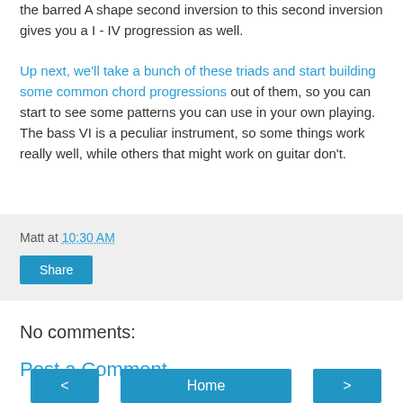the barred A shape second inversion to this second inversion gives you a I - IV progression as well.
Up next, we'll take a bunch of these triads and start building some common chord progressions out of them, so you can start to see some patterns you can use in your own playing. The bass VI is a peculiar instrument, so some things work really well, while others that might work on guitar don't.
Matt at 10:30 AM
Share
No comments:
Post a Comment
< Home >